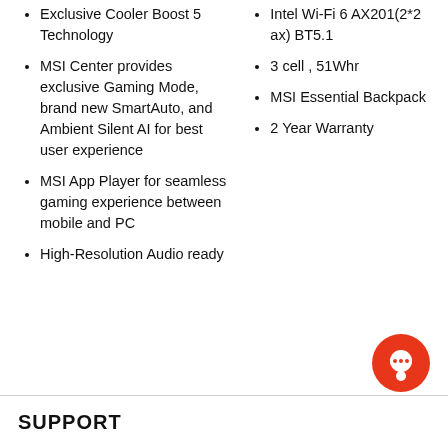Exclusive Cooler Boost 5 Technology
MSI Center provides exclusive Gaming Mode, brand new SmartAuto, and Ambient Silent AI for best user experience
MSI App Player for seamless gaming experience between mobile and PC
High-Resolution Audio ready
Intel Wi-Fi 6 AX201(2*2 ax) BT5.1
3 cell , 51Whr
MSI Essential Backpack
2 Year Warranty
SUPPORT